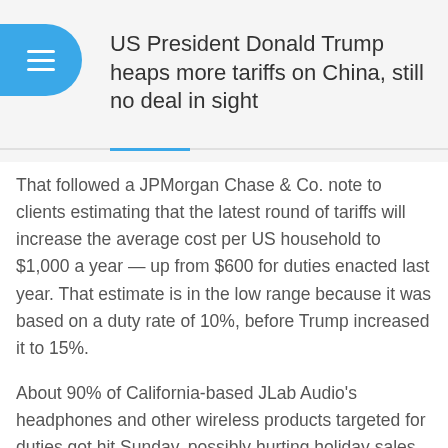US President Donald Trump heaps more tariffs on China, still no deal in sight
That followed a JPMorgan Chase & Co. note to clients estimating that the latest round of tariffs will increase the average cost per US household to $1,000 a year — up from $600 for duties enacted last year. That estimate is in the low range because it was based on a duty rate of 10%, before Trump increased it to 15%.
About 90% of California-based JLab Audio's headphones and other wireless products targeted for duties got hit Sunday, possibly hurting holiday sales and forcing a delay in